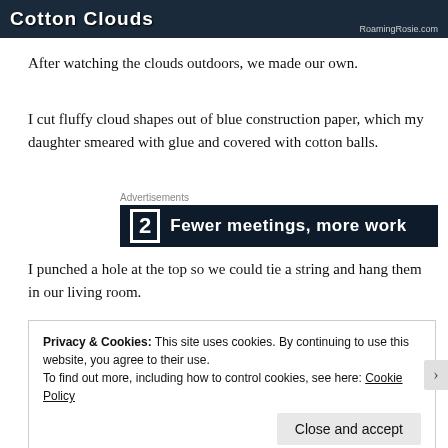[Figure (screenshot): Website header image showing 'Cotton Clouds' title on dark background with 'RoamingRosie.com' watermark]
After watching the clouds outdoors, we made our own.
I cut fluffy cloud shapes out of blue construction paper, which my daughter smeared with glue and covered with cotton balls.
[Figure (screenshot): Advertisement banner with dark background showing number 2 and text 'Fewer meetings, more work']
I punched a hole at the top so we could tie a string and hang them in our living room.
Privacy & Cookies: This site uses cookies. By continuing to use this website, you agree to their use.
To find out more, including how to control cookies, see here: Cookie Policy